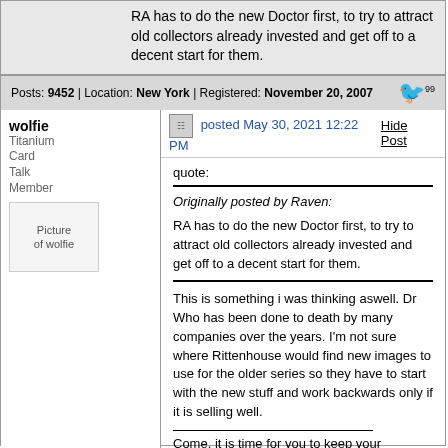RA has to do the new Doctor first, to try to attract old collectors already invested and get off to a decent start for them.
Posts: 9452 | Location: New York | Registered: November 20, 2007
wolfie
Titanium Card Talk Member
posted May 30, 2021 12:22 PM
Hide Post
quote:
Originally posted by Raven:
RA has to do the new Doctor first, to try to attract old collectors already invested and get off to a decent start for them.
This is something i was thinking aswell. Dr Who has been done to death by many companies over the years. I'm not sure where Rittenhouse would find new images to use for the older series so they have to start with the new stuff and work backwards only if it is selling well.
Come, it is time for you to keep your appointment with The Wicker Man.